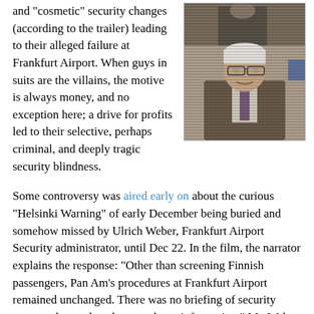and "cosmetic" security changes (according to the trailer) leading to their alleged failure at Frankfurt Airport. When guys in suits are the villains, the motive is always money, and no exception here; a drive for profits led to their selective, perhaps criminal, and deeply tragic security blindness.
[Figure (photo): A screenshot of a man with white hair and glasses, appearing on a television screen or video, wearing a suit and tie, speaking or being interviewed.]
Some controversy was aired early on about the curious "Helsinki Warning" of early December being buried and somehow missed by Ulrich Weber, Frankfurt Airport Security administrator, until Dec 22. In the film, the narrator explains the response: "Other than screening Finnish passengers, Pan Am's procedures at Frankfurt Airport remained unchanged. There was no briefing of security personnel to update them on threat information." Mr. Weber is further quoted in the film dismissing a larger threat yet, the October discovery of multiple altimeter bomb radios, in existence, in Germany. He's challenged by an underling, Oliver Koch (Pertwee), who is prophetically worried about "that cell and